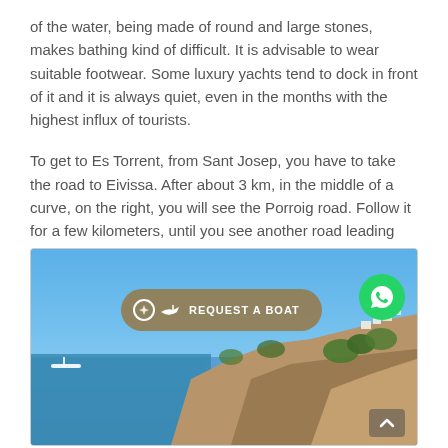of the water, being made of round and large stones, makes bathing kind of difficult. It is advisable to wear suitable footwear. Some luxury yachts tend to dock in front of it and it is always quiet, even in the months with the highest influx of tourists.
To get to Es Torrent, from Sant Josep, you have to take the road to Eivissa. After about 3 km, in the middle of a curve, on the right, you will see the Porroig road. Follow it for a few kilometers, until you see another road leading out to the right between the pines. It is indicated.
[Figure (photo): Coastal landscape photo showing rocky cliffs, Mediterranean blue water, and hillside buildings with overlaid 'REQUEST A BOAT' button and WhatsApp icon button]